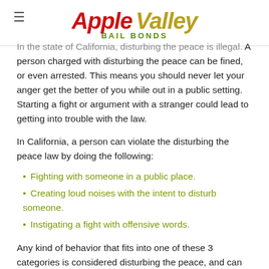Apple Valley BAIL BONDS
In the state of California, disturbing the peace is illegal. A person charged with disturbing the peace can be fined, or even arrested. This means you should never let your anger get the better of you while out in a public setting. Starting a fight or argument with a stranger could lead to getting into trouble with the law.
In California, a person can violate the disturbing the peace law by doing the following:
Fighting with someone in a public place.
Creating loud noises with the intent to disturb someone.
Instigating a fight with offensive words.
Any kind of behavior that fits into one of these 3 categories is considered disturbing the peace, and can lead to police